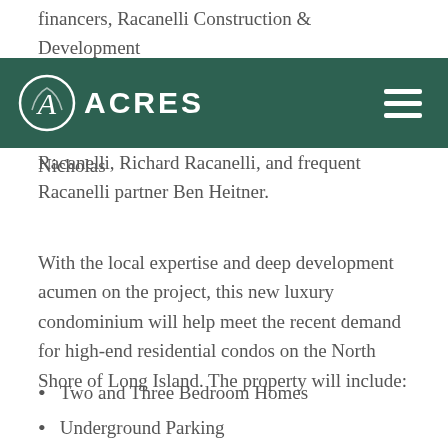financers, Racanelli Construction & Development and Ben Heitner. The loan carries a term of 30 months and is guaranteed by locally based, experienced developers Martin Racanelli, Nicholas Racanelli, Richard Racanelli, and frequent Racanelli partner Ben Heitner.
[Figure (logo): ACRES company logo with navigation bar on dark green background. Logo shows stylized letter A in a circle followed by text ACRES. Hamburger menu icon on the right.]
With the local expertise and deep development acumen on the project, this new luxury condominium will help meet the recent demand for high-end residential condos on the North Shore of Long Island. The property will include:
Two and Three Bedroom Homes
Underground Parking